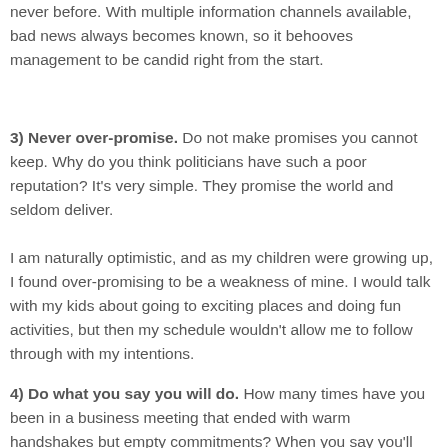never before. With multiple information channels available, bad news always becomes known, so it behooves management to be candid right from the start.
3) Never over-promise. Do not make promises you cannot keep. Why do you think politicians have such a poor reputation? It's very simple. They promise the world and seldom deliver.
I am naturally optimistic, and as my children were growing up, I found over-promising to be a weakness of mine. I would talk with my kids about going to exciting places and doing fun activities, but then my schedule wouldn't allow me to follow through with my intentions.
4) Do what you say you will do. How many times have you been in a business meeting that ended with warm handshakes but empty commitments? When you say you'll pass along a friend's contact information to a